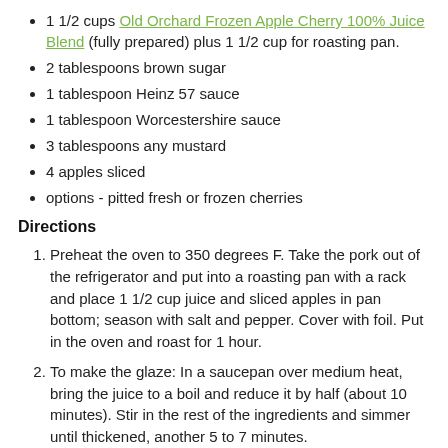1 1/2 cups Old Orchard Frozen Apple Cherry 100% Juice Blend (fully prepared) plus 1 1/2 cup for roasting pan.
2 tablespoons brown sugar
1 tablespoon Heinz 57 sauce
1 tablespoon Worcestershire sauce
3 tablespoons any mustard
4 apples sliced
options - pitted fresh or frozen cherries
Directions
Preheat the oven to 350 degrees F. Take the pork out of the refrigerator and put into a roasting pan with a rack and place 1 1/2 cup juice and sliced apples in pan bottom; season with salt and pepper. Cover with foil. Put in the oven and roast for 1 hour.
To make the glaze: In a saucepan over medium heat, bring the juice to a boil and reduce it by half (about 10 minutes). Stir in the rest of the ingredients and simmer until thickened, another 5 to 7 minutes.
After the pork has roasted for 1 hour, start brushing it with the glaze every 15 minutes and top pork with cherries. Cook until the roast reaches an internal temperature of 150 degrees F, or the juices run clear when cut.